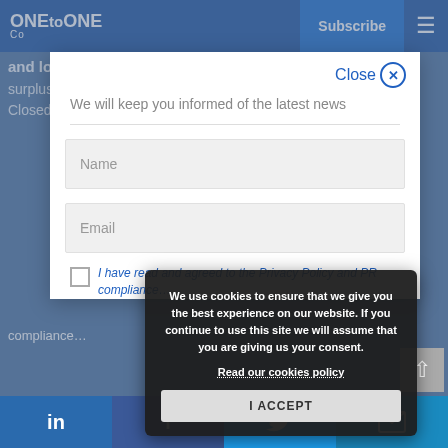ONE to ONE Co. — Subscribe button — Navigation
and low-risk funds with the greatest possible surplus value. Private equity fund… Closed investment that generally invest…
[Figure (screenshot): Subscribe newsletter modal dialog with Name and Email input fields, close button, and GDPR compliance checkbox]
We will keep you informed of the latest news
Name
Email
I have read and agree to the Privacy Policy and compliance…
We use cookies to ensure that we give you the best experience on our website. If you continue to use this site we will assume that you are giving us your consent. Read our cookies policy
I ACCEPT
LinkedIn | Facebook | Twitter | Email